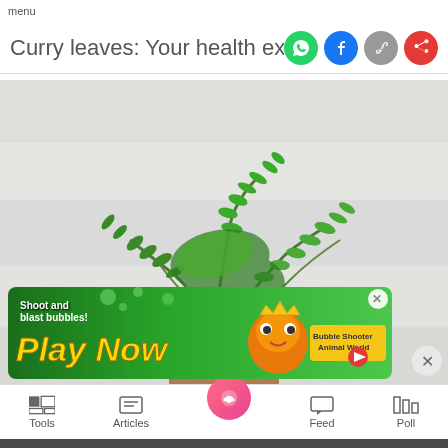menu
Curry leaves: Your health expert at ho
[Figure (photo): A curry leaf plant in a terracotta pot on a white wooden surface, viewed from above. The plant has multiple arching branches with small, shiny green leaves.]
[Figure (infographic): Advertisement banner with green background showing 'Shoot and blast bubbles! Play Now' text with game mascot characters and 'Bubble Shooter Animal World' game promotion.]
Tools   Articles   Feed   Poll
We use cookies to ensure you get the best experience.
Learn More   Ok, Got it